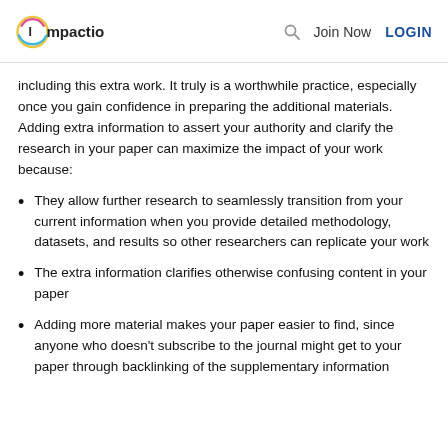Impactio | Join Now | LOGIN
including this extra work. It truly is a worthwhile practice, especially once you gain confidence in preparing the additional materials. Adding extra information to assert your authority and clarify the research in your paper can maximize the impact of your work because:
They allow further research to seamlessly transition from your current information when you provide detailed methodology, datasets, and results so other researchers can replicate your work
The extra information clarifies otherwise confusing content in your paper
Adding more material makes your paper easier to find, since anyone who doesn't subscribe to the journal might get to your paper through backlinking of the supplementary information